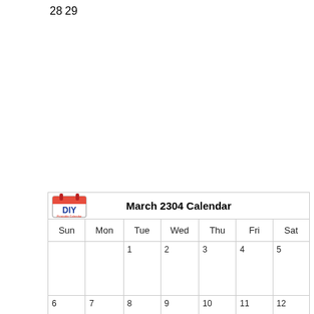| Sun | Mon | Tue | Wed | Thu | Fri | Sat |
| --- | --- | --- | --- | --- | --- | --- |
|  |  |  |  |  |  |  |
| 28 | 29 |  |  |  |  |  |
March 2304 Calendar
| Sun | Mon | Tue | Wed | Thu | Fri | Sat |
| --- | --- | --- | --- | --- | --- | --- |
|  |  | 1 | 2 | 3 | 4 | 5 |
| 6 | 7 | 8 | 9 | 10 | 11 | 12 |
| 13 | 14 | 15 | 16 | 17 | 18 | 19 |
| 20 | 21 | 22 | 23 | 24 | 25 | 26 |